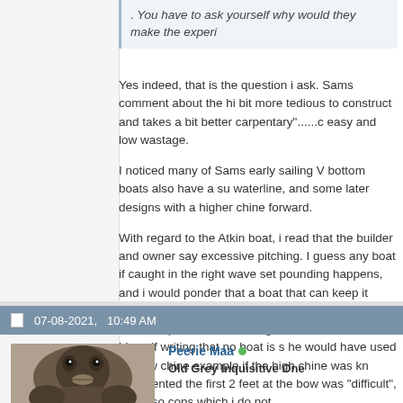. You have to ask yourself why would they make the experi
Yes indeed, that is the question i ask. Sams comment about the hi bit more tedious to construct and takes a bit better carpentary"......c easy and low wastage.
I noticed many of Sams early sailing V bottom boats also have a su waterline, and some later designs with a higher chine forward.
With regard to the Atkin boat, i read that the builder and owner say excessive pitching. I guess any boat if caught in the right wave set pounding happens, and i would ponder that a boat that can keep it driven will have an advantage over a blunt boat that could be poss builders design brief and with Atkin himself writing that no boat is s he would have used the low chine example if the high chine was kn commented the first 2 feet at the bow was "difficult", and also cons which i do not.
07-08-2021,   10:49 AM
Peerie Maa
Old Grey Inquisitive One